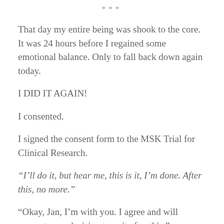***
That day my entire being was shook to the core. It was 24 hours before I regained some emotional balance. Only to fall back down again today.
I DID IT AGAIN!
I consented.
I signed the consent form to the MSK Trial for Clinical Research.
“I’ll do it, but hear me, this is it, I’m done. After this, no more.”
“Okay, Jan, I’m with you. I agree and will support your decision to quit after this.”